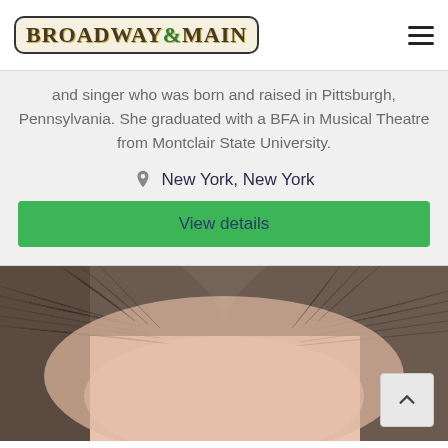[Figure (logo): Broadway & Main logo in a rounded rectangle border with decorative serif text]
and singer who was born and raised in Pittsburgh, Pennsylvania. She graduated with a BFA in Musical Theatre from Montclair State University.
New York, New York
View details
[Figure (photo): Close-up photo of a person's forehead and slicked-back hair, brownish-blonde]